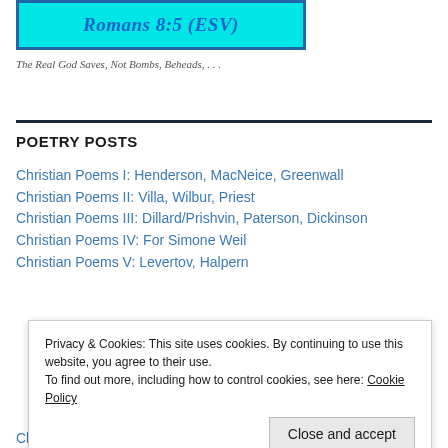[Figure (other): Blue banner image with text 'Romans 8:5 (ESV)' in teal/cyan background with dark blue border]
The Real God Saves, Not Bombs, Beheads, . . .
POETRY POSTS
Christian Poems I: Henderson, MacNeice, Greenwall
Christian Poems II: Villa, Wilbur, Priest
Christian Poems III: Dillard/Prishvin, Paterson, Dickinson
Christian Poems IV: For Simone Weil
Christian Poems V: Levertov, Halpern
Privacy & Cookies: This site uses cookies. By continuing to use this website, you agree to their use.
To find out more, including how to control cookies, see here: Cookie Policy
Close and accept
Christian Poems VIII: Nicholson, Aquinas, Priest